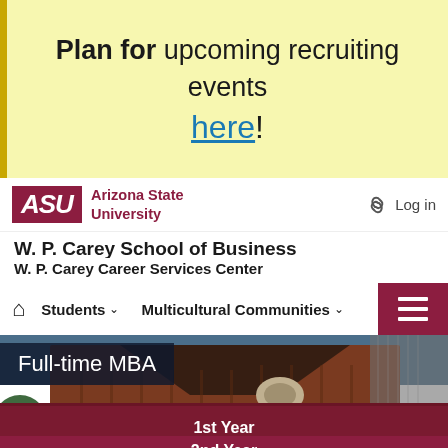Plan for upcoming recruiting events here!
ASU Arizona State University — Log in
W. P. Carey School of Business
W. P. Carey Career Services Center
Students ∨  Multicultural Communities ∨
[Figure (photo): Exterior photo of ASU building with 'Full-time MBA' overlay label]
1st Year
2nd Year